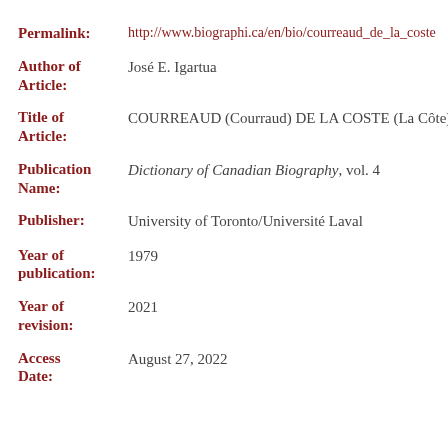Permalink: http://www.biographi.ca/en/bio/courreaud_de_la_coste
Author of Article: José E. Igartua
Title of Article: COURREAUD (Courraud) DE LA COSTE (La Côte),
Publication Name: Dictionary of Canadian Biography, vol. 4
Publisher: University of Toronto/Université Laval
Year of publication: 1979
Year of revision: 2021
Access Date: August 27, 2022